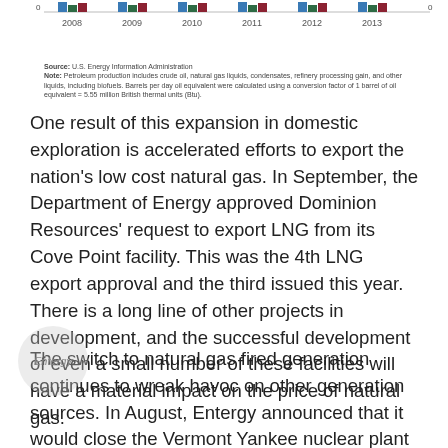[Figure (grouped-bar-chart): Grouped bar chart showing petroleum and natural gas production from 2008 to 2013, with bars in teal/blue and dark green/maroon colors]
Source: U.S. Energy Information Administration
Note: Petroleum production includes crude oil, natural gas liquids, condensates, refinery processing gain, and other liquids, including biofuels. Barrels per day oil equivalent were calculated using a conversion factor of 1 barrel of oil equivalent = 5.55 million British thermal units (Btu).
One result of this expansion in domestic exploration is accelerated efforts to export the nation's low cost natural gas. In September, the Department of Energy approved Dominion Resources' request to export LNG from its Cove Point facility. This was the 4th LNG export approval and the third issued this year. There is a long line of other projects in development, and the successful development of even a small number of these facilities will have a material impact on the price of natural gas.
The switch to natural gas fired generation continues to wreak havoc on other generation sources. In August, Entergy announced that it would close the Vermont Yankee nuclear plant in 2014. This 604 MW base load